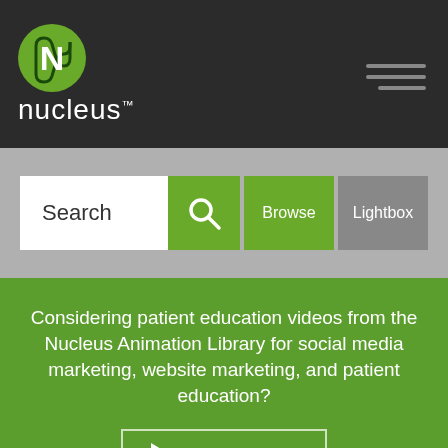nucleus
[Figure (screenshot): Nucleus Medical Media website screenshot showing logo, hamburger menu, search bar with Browse and Lightbox buttons, green promotional section, and footer]
Search
Browse
Lightbox
Considering patient education videos from the Nucleus Animation Library for social media marketing, website marketing, and patient education?
Learn More
Nucleus Medical Media